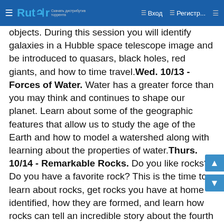☰ Rutor  ☰ Вход  ☰ Регистр...  ☰
objects. During this session you will identify galaxies in a Hubble space telescope image and be introduced to quasars, black holes, red giants, and how to time travel.Wed. 10/13 - Forces of Water. Water has a greater force than you may think and continues to shape our planet. Learn about some of the geographic features that allow us to study the age of the Earth and how to model a watershed along with learning about the properties of water.Thurs. 10/14 - Remarkable Rocks. Do you like rocks? Do you have a favorite rock? This is the time to learn about rocks, get rocks you have at home identified, how they are formed, and learn how rocks can tell an incredible story about the fourth dimension - time.Fri. 10/15 - Fossil Clues. Sequence a series of events that leads to finding a fossil. Go on a journey through time using fossils and identify some of the index fossils used to learn about life on our planet and other amazing fossil finds.ES Week Flyer 2021 Resized (21.09.21).pdf (349 KB)8609/17/2021 - 11:38Anonymous (not verified)204.134.185.34Lost Giants of the Jurassic: National Fossil Day Virtual LectureMuseums of Western Colorado10/13/20217:00 pm9:00 pmYesOnline870-242-